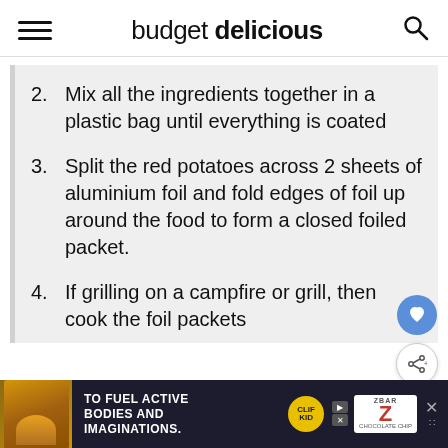budget delicious
2. Mix all the ingredients together in a plastic bag until everything is coated
3. Split the red potatoes across 2 sheets of aluminium foil and fold edges of foil up around the food to form a closed foiled packet.
4. If grilling on a campfire or grill, then cook the foil packets
[Figure (infographic): Advertisement banner: TO FUEL ACTIVE BODIES AND IMAGINATIONS. Z BAR chocolate chip.]